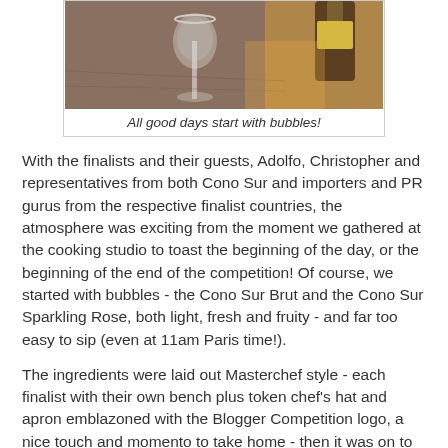[Figure (photo): Photo of a wine glass and bottle on a wooden table, top portion visible]
All good days start with bubbles!
With the finalists and their guests, Adolfo, Christopher and representatives from both Cono Sur and importers and PR gurus from the respective finalist countries, the atmosphere was exciting from the moment we gathered at the cooking studio to toast the beginning of the day, or the beginning of the end of the competition! Of course, we started with bubbles - the Cono Sur Brut and the Cono Sur Sparkling Rose, both light, fresh and fruity - and far too easy to sip (even at 11am Paris time!).
The ingredients were laid out Masterchef style - each finalist with their own bench plus token chef's hat and apron emblazoned with the Blogger Competition logo, a nice touch and momento to take home - then it was on to mis en place